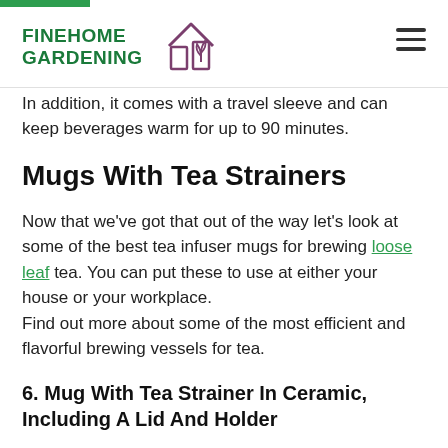FINEHOME GARDENING
In addition, it comes with a travel sleeve and can keep beverages warm for up to 90 minutes.
Mugs With Tea Strainers
Now that we've got that out of the way let's look at some of the best tea infuser mugs for brewing loose leaf tea. You can put these to use at either your house or your workplace.
Find out more about some of the most efficient and flavorful brewing vessels for tea.
6. Mug With Tea Strainer In Ceramic, Including A Lid And Holder
The first option that we recommend is a classy mug that includes a tea infuser and has a cover that also